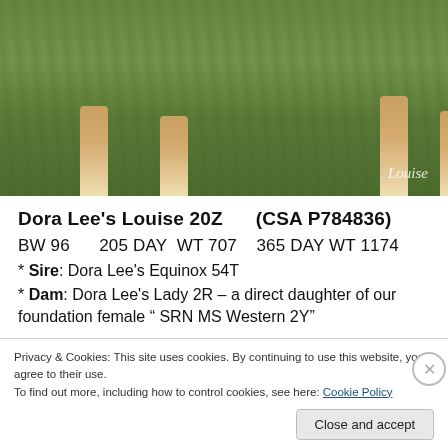[Figure (photo): Photo of a cow/cattle animal on grass, showing legs and lower body. Watermark text 'Louise' in cursive at bottom right.]
Dora Lee's Louise 20Z    (CSA P784836)
BW 96    205 DAY  WT 707   365 DAY WT 1174
* Sire: Dora Lee's Equinox 54T
* Dam: Dora Lee's Lady 2R – a direct daughter of our foundation female " SRN MS Western 2Y"
Privacy & Cookies: This site uses cookies. By continuing to use this website, you agree to their use.
To find out more, including how to control cookies, see here: Cookie Policy